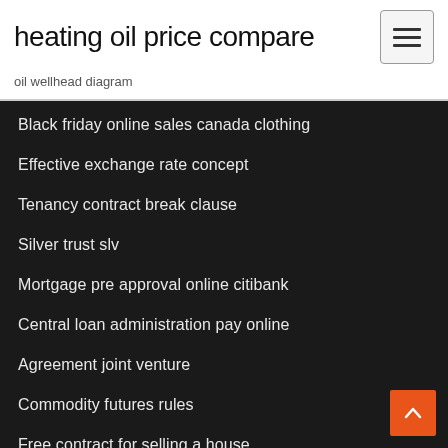heating oil price compare
oil wellhead diagram
Black friday online sales canada clothing
Effective exchange rate concept
Tenancy contract break clause
Silver trust slv
Mortgage pre approval online citibank
Central loan administration pay online
Agreement joint venture
Commodity futures rules
Free contract for selling a house
Minério de ferro conan exiles